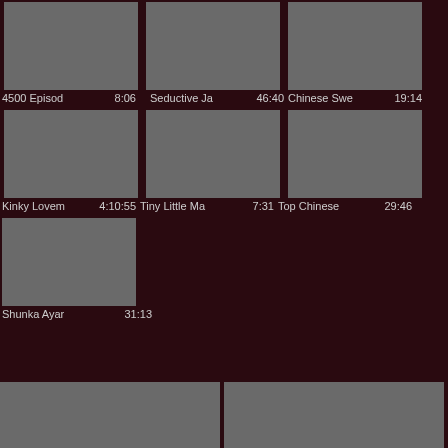[Figure (screenshot): Video thumbnail grid row 1: three gray placeholder thumbnails]
4500 Episod   8:06   Seductive Ja   46:40   Chinese Swe   19:14
[Figure (screenshot): Video thumbnail grid row 2: three gray placeholder thumbnails]
Kinky Lovem 4:10:55   Tiny Little Ma   7:31   Top Chinese   29:46
[Figure (screenshot): Video thumbnail grid row 3: one gray placeholder thumbnail]
Shunka Ayar   31:13
[Figure (screenshot): Two partial video thumbnails at bottom of page]